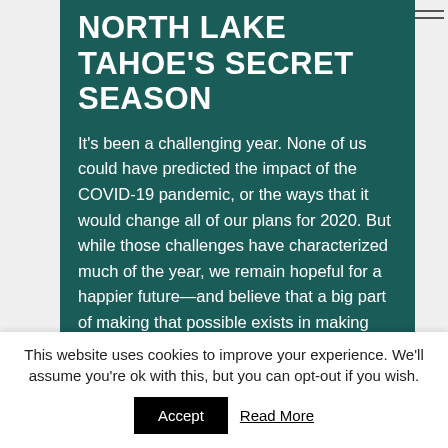NORTH LAKE TAHOE'S SECRET SEASON
It's been a challenging year. None of us could have predicted the impact of the COVID-19 pandemic, or the ways that it would change all of our plans for 2020. But while those challenges have characterized much of the year, we remain hopeful for a happier future—and believe that a big part of making that possible exists in making choices…
READ MORE >
This website uses cookies to improve your experience. We'll assume you're ok with this, but you can opt-out if you wish.
Accept
Read More